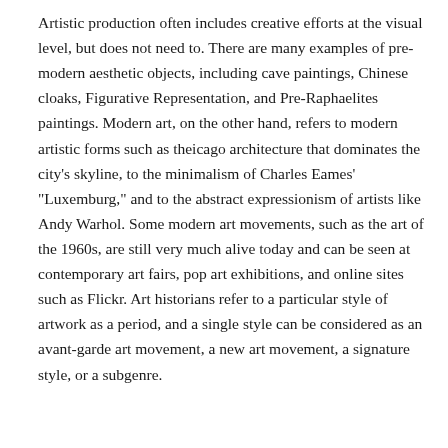Artistic production often includes creative efforts at the visual level, but does not need to. There are many examples of pre-modern aesthetic objects, including cave paintings, Chinese cloaks, Figurative Representation, and Pre-Raphaelites paintings. Modern art, on the other hand, refers to modern artistic forms such as theicago architecture that dominates the city's skyline, to the minimalism of Charles Eames' "Luxemburg," and to the abstract expressionism of artists like Andy Warhol. Some modern art movements, such as the art of the 1960s, are still very much alive today and can be seen at contemporary art fairs, pop art exhibitions, and online sites such as Flickr. Art historians refer to a particular style of artwork as a period, and a single style can be considered as an avant-garde art movement, a new art movement, a signature style, or a subgenre.